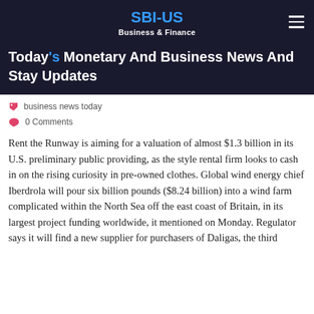SBI-US
Business & Finance
Today's Monetary And Business News And Stay Updates
business news today
0 Comments
Rent the Runway is aiming for a valuation of almost $1.3 billion in its U.S. preliminary public providing, as the style rental firm looks to cash in on the rising curiosity in pre-owned clothes. Global wind energy chief Iberdrola will pour six billion pounds ($8.24 billion) into a wind farm complicated within the North Sea off the east coast of Britain, in its largest project funding worldwide, it mentioned on Monday. Regulator says it will find a new supplier for purchasers of Daligas, the third